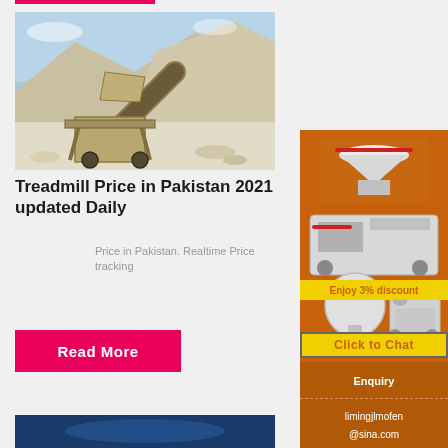[Figure (photo): Quarry/mining crusher machinery with conveyor belt against rocky hillside background]
Treadmill Price in Pakistan 2021 updated Daily
Price in Pakistan. Realtime Price tracking
Read More
[Figure (photo): Partial bottom article image, dark blue tones]
[Figure (photo): Orange advertisement banner with industrial crusher/mill machinery images, Enjoy 3% discount, Click to Chat]
Enquiry
limingjlmofen@sina.com